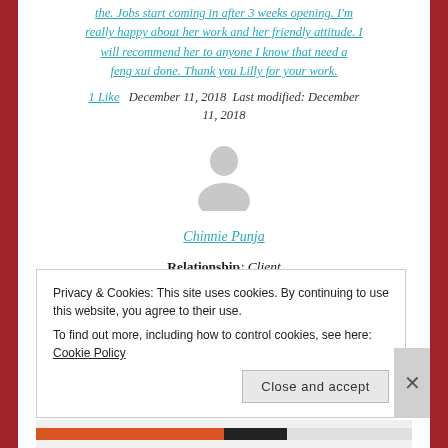the. Jobs start coming in after 3 weeks opening. I'm really happy about her work and her friendly attitude. I will recommend her to anyone I know that need a feng xui done. Thank you Lilly for your work.
1 Like   December 11, 2018  Last modified: December 11, 2018
[Figure (illustration): Generic user avatar silhouette icon in grey]
Chinnie Punja
Relationship: Client
Project Date: April 2018
Privacy & Cookies: This site uses cookies. By continuing to use this website, you agree to their use. To find out more, including how to control cookies, see here: Cookie Policy
Close and accept